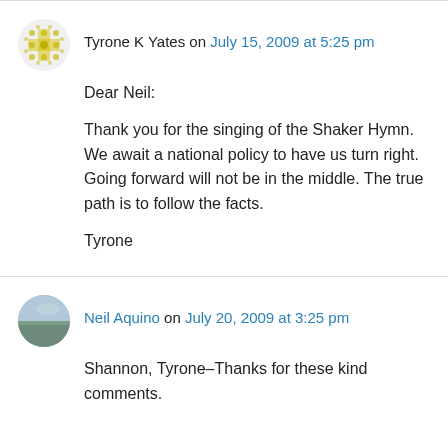Tyrone K Yates on July 15, 2009 at 5:25 pm
Dear Neil:

Thank you for the singing of the Shaker Hymn. We await a national policy to have us turn right. Going forward will not be in the middle. The true path is to follow the facts.

Tyrone
Neil Aquino on July 20, 2009 at 3:25 pm
Shannon, Tyrone–Thanks for these kind comments.